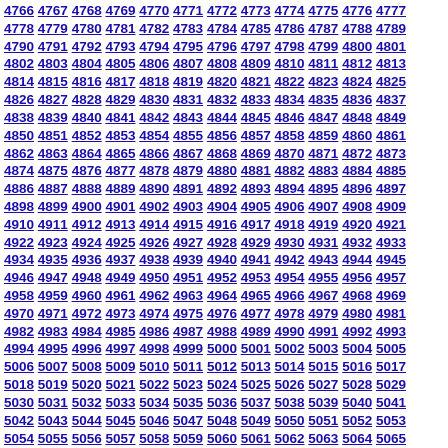4766 4767 4768 4769 4770 4771 4772 4773 4774 4775 4776 4777 4778 4779 4780 4781 4782 4783 4784 4785 4786 4787 4788 4789 4790 4791 4792 4793 4794 4795 4796 4797 4798 4799 4800 4801 4802 4803 4804 4805 4806 4807 4808 4809 4810 4811 4812 4813 4814 4815 4816 4817 4818 4819 4820 4821 4822 4823 4824 4825 4826 4827 4828 4829 4830 4831 4832 4833 4834 4835 4836 4837 4838 4839 4840 4841 4842 4843 4844 4845 4846 4847 4848 4849 4850 4851 4852 4853 4854 4855 4856 4857 4858 4859 4860 4861 4862 4863 4864 4865 4866 4867 4868 4869 4870 4871 4872 4873 4874 4875 4876 4877 4878 4879 4880 4881 4882 4883 4884 4885 4886 4887 4888 4889 4890 4891 4892 4893 4894 4895 4896 4897 4898 4899 4900 4901 4902 4903 4904 4905 4906 4907 4908 4909 4910 4911 4912 4913 4914 4915 4916 4917 4918 4919 4920 4921 4922 4923 4924 4925 4926 4927 4928 4929 4930 4931 4932 4933 4934 4935 4936 4937 4938 4939 4940 4941 4942 4943 4944 4945 4946 4947 4948 4949 4950 4951 4952 4953 4954 4955 4956 4957 4958 4959 4960 4961 4962 4963 4964 4965 4966 4967 4968 4969 4970 4971 4972 4973 4974 4975 4976 4977 4978 4979 4980 4981 4982 4983 4984 4985 4986 4987 4988 4989 4990 4991 4992 4993 4994 4995 4996 4997 4998 4999 5000 5001 5002 5003 5004 5005 5006 5007 5008 5009 5010 5011 5012 5013 5014 5015 5016 5017 5018 5019 5020 5021 5022 5023 5024 5025 5026 5027 5028 5029 5030 5031 5032 5033 5034 5035 5036 5037 5038 5039 5040 5041 5042 5043 5044 5045 5046 5047 5048 5049 5050 5051 5052 5053 5054 5055 5056 5057 5058 5059 5060 5061 5062 5063 5064 5065